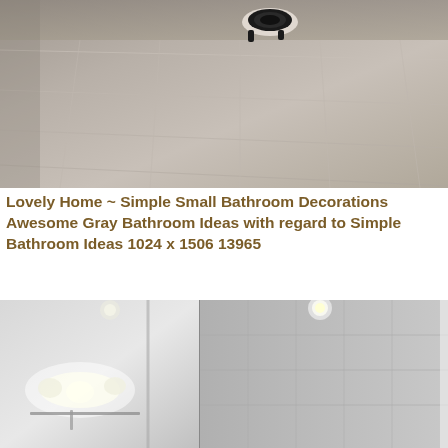[Figure (photo): Gray tiled bathroom floor viewed from above, with a small black and white object (drain or accessory) visible near the top center. The tiles are large format gray stone tiles with subtle grout lines.]
Lovely Home ~ Simple Small Bathroom Decorations Awesome Gray Bathroom Ideas with regard to Simple Bathroom Ideas 1024 x 1506 13965
[Figure (photo): Black and white photograph of a modern bathroom interior showing a large mirror, recessed ceiling lights, and gray stone tile walls in a shower area. Vanity lights are visible reflecting in the mirror.]